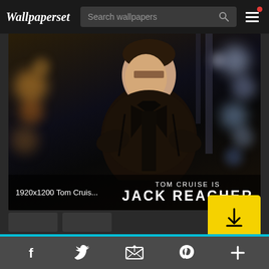Wallpaperset | Search wallpapers
[Figure (photo): Movie promotional wallpaper screenshot from Wallpaperset website. Tom Cruise as Jack Reacher movie poster showing man in leather jacket with bokeh city lights background. Text overlay reads 'TOM CRUISE is JACK REACHER'. Image labeled '1920x1200 Tom Cruis...']
This website uses cookies.  Learn more
Facebook  Twitter  Email  Pinterest  Plus